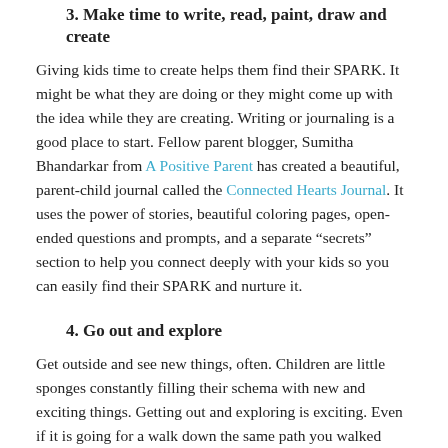3. Make time to write, read, paint, draw and create
Giving kids time to create helps them find their SPARK. It might be what they are doing or they might come up with the idea while they are creating. Writing or journaling is a good place to start. Fellow parent blogger, Sumitha Bhandarkar from A Positive Parent has created a beautiful, parent-child journal called the Connected Hearts Journal. It uses the power of stories, beautiful coloring pages, open-ended questions and prompts, and a separate “secrets” section to help you connect deeply with your kids so you can easily find their SPARK and nurture it.
4. Go out and explore
Get outside and see new things, often. Children are little sponges constantly filling their schema with new and exciting things. Getting out and exploring is exciting. Even if it is going for a walk down the same path you walked down yesterday, kids